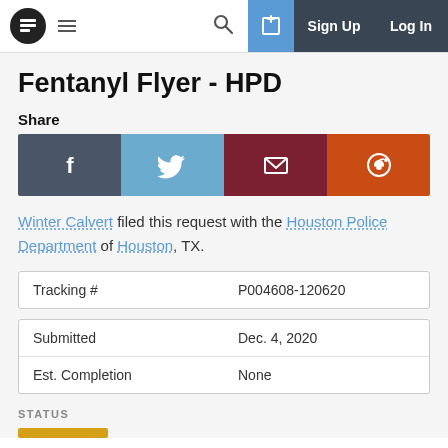Fentanyl Flyer - HPD | Sign Up | Log In
Fentanyl Flyer - HPD
Share
[Figure (other): Social share buttons: Facebook, Twitter, Email, Reddit]
Winter Calvert filed this request with the Houston Police Department of Houston, TX.
| Tracking # | P004608-120620 |
| --- | --- |
| Submitted | Dec. 4, 2020 |
| Est. Completion | None |
STATUS